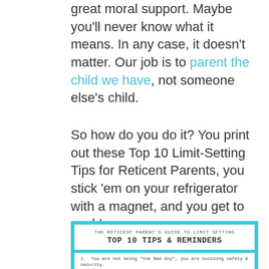great moral support.  Maybe you'll never know what it means.  In any case, it doesn't matter.  Our job is to parent the child we have, not someone else's child.
So how do you do it?  You print out these Top 10 Limit-Setting Tips for Reticent Parents, you stick 'em on your refrigerator with a magnet, and you get to work!
[Figure (infographic): The Reticent Parent's Guide To Limit Setting - Top 10 Tips & Reminders infographic with teal border, white header box and white content area showing first two items: 1. You are not being 'the Bad Guy', you are building safety & security. 2. Children are not in charge of your emotions-You are. Model Self-Control.]